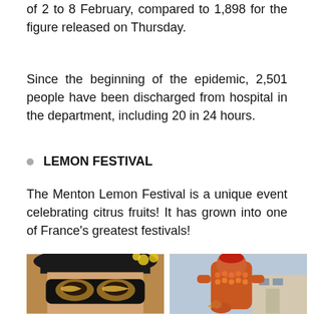of 2 to 8 February, compared to 1,898 for the figure released on Thursday.
Since the beginning of the epidemic, 2,501 people have been discharged from hospital in the department, including 20 in 24 hours.
LEMON FESTIVAL
The Menton Lemon Festival is a unique event celebrating citrus fruits! It has grown into one of France's greatest festivals!
[Figure (photo): Two photos side by side: left shows a person wearing an ornate black and gold Venetian masquerade mask with a tricorn hat, with lemons in the background; right shows a large sculpture of a muscular man made from citrus fruits (oranges) with a bird at the base, in front of buildings.]